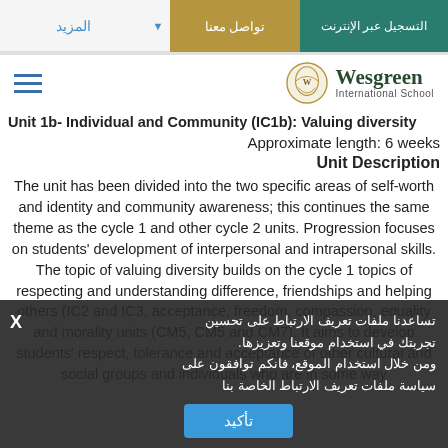المزيد | تواصل معنا | التسجيل عبر الإنترنت
[Figure (logo): Wesgreen International School logo with shield emblem]
Unit 1b- Individual and Community (IC1b): Valuing diversity
Approximate length: 6 weeks
Unit Description
The unit has been divided into the two specific areas of self-worth and identity and community awareness; this continues the same theme as the cycle 1 and other cycle 2 units. Progression focuses on students' development of interpersonal and intrapersonal skills. The topic of valuing diversity builds on the cycle 1 topics of respecting and understanding difference, friendships and helping others (IC2 and IC3, acceptance, freedom, compassion, equality and morality units (CM5, CM5 and CM7). It aims to develop students' respect, tolerance and acceptance of other cultural and social groups and individuals who are in some way
تساعدنا ملفات تعريف الارتباط على تحسين تجربتك في استخدام موقعنا وتعزيزها. ومن خلال استخدام الموقع، فانكم توافقون على سياسة ملفات تعريف الارتباط الخاصة بنا